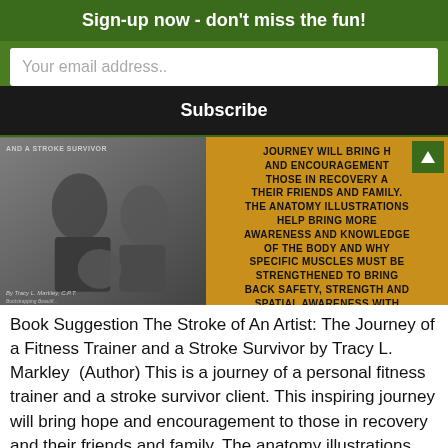Sign-up now - don't miss the fun!
Your email address..
Subscribe
[Figure (photo): Book cover image showing two people (fitness trainer and stroke survivor) posing, black and white photo on left, yellow background with bold black text on right. Text reads: AND A STROKE SURVIVOR / JOURNEY WILL BRING H AND ENCOURAGEMENT THOSE IN RECOVERY A THEIR FRIENDS AND FAMILY. THE ANATOMY ILLUSTRATIONS HELP BRING MORE AWARENESS AND KNOWLEDGE OF THE BODY AND WHY SPECIFIC MUSCLES MUST BE STRENGTHENED TO BRING BACK SAFETY, STRENGTH AND SPATIAL AWARENESS WITH MOVEMENT. / By Tracy L. Markley, C.P.T.]
Book Suggestion The Stroke of An Artist: The Journey of a Fitness Trainer and a Stroke Survivor by Tracy L. Markley  (Author) This is a journey of a personal fitness trainer and a stroke survivor client. This inspiring journey will bring hope and encouragement to those in recovery and their friends and family. The anatomy illustrations help [...]